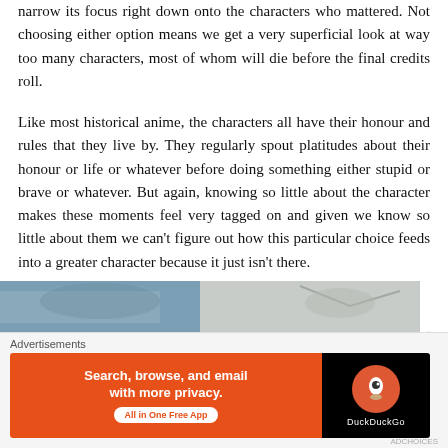narrow its focus right down onto the characters who mattered. Not choosing either option means we get a very superficial look at way too many characters, most of whom will die before the final credits roll.
Like most historical anime, the characters all have their honour and rules that they live by. They regularly spout platitudes about their honour or life or whatever before doing something either stupid or brave or whatever. But again, knowing so little about the character makes these moments feel very tagged on and given we know so little about them we can’t figure out how this particular choice feeds into a greater character because it just isn’t there.
[Figure (photo): Partial image strip at bottom of article, showing what appears to be anime characters, cropped.]
Advertisements
Search, browse, and email with more privacy. All in One Free App — DuckDuckGo